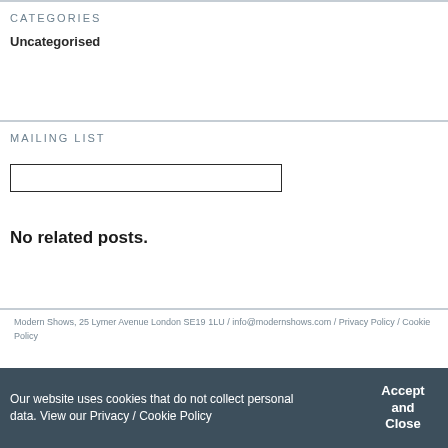CATEGORIES
Uncategorised
MAILING LIST
No related posts.
Modern Shows, 25 Lymer Avenue London SE19 1LU / info@modernshows.com / Privacy Policy / Cookie Policy
Our website uses cookies that do not collect personal data. View our Privacy / Cookie Policy
Accept and Close